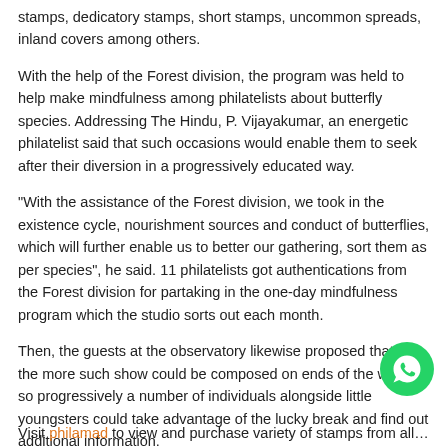stamps, dedicatory stamps, short stamps, uncommon spreads, inland covers among others.
With the help of the Forest division, the program was held to help make mindfulness among philatelists about butterfly species. Addressing The Hindu, P. Vijayakumar, an energetic philatelist said that such occasions would enable them to seek after their diversion in a progressively educated way.
"With the assistance of the Forest division, we took in the existence cycle, nourishment sources and conduct of butterflies, which will further enable us to better our gathering, sort them as per species", he said. 11 philatelists got authentications from the Forest division for partaking in the one-day mindfulness program which the studio sorts out each month.
Then, the guests at the observatory likewise proposed that all the more such show could be composed on ends of the week, so progressively a number of individuals alongside little youngsters could take advantage of the lucky break and find out additional information.
Image Curtsy: India Post
[Figure (logo): WhatsApp green circular button icon]
Visit philamad to view and purchase variety of stamps from all over the